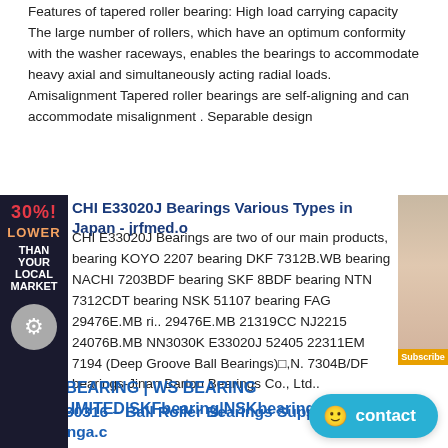[Figure (infographic): Left sidebar advertisement with red text '30%! LOWER THAN YOUR LOCAL MARKET' on dark background with a gear/bearing icon circle at bottom]
[Figure (photo): Right sidebar advertisement showing a woman's face with a subscribe button at bottom]
Features of tapered roller bearing: High load carrying capacity The large number of rollers, which have an optimum conformity with the washer raceways, enables the bearings to accommodate heavy axial and simultaneously acting radial loads. Amisalignment Tapered roller bearings are self-aligning and can accommodate misalignment . Separable design
CHI E33020J Bearings Various Types in Japan - jrfmed.o
CHI E33020J Bearings are two of our main products, bearing KOYO 2207 bearing DKF 7312B.WB bearing NACHI 7203BDF bearing SKF 8BDF bearing NTN 7312CDT bearing NSK 51107 bearing FAG 29476E.MB ri.. 29476E.MB 21319CC NJ2215 24076B.MB NN3030K E33020J 52405 22311EM 7194 (Deep Groove Ball Bearings)□,N. 7304B/DF bearings-Jinan Barton Bearings Co., Ltd..
FAG BEARING | WS BEARING CO.,LIMITED|SKFbearing|NSKbearing .
FAG 30316-A Tapered roller bearings. 2019-07-23 w90. FAG 7304-B-XL-TVP Angular contact ball bearings. 2019-06-18 w90. FAG 7304-B-XL-MP Angular contact ball bearings. ... NACHI BEARING; THK BEARING; WAREHOUSE DISPLAY; Search . Latest Post. SKF Engine Fan Support M reliability and lowers total cost.
NSK 30316 – Ball Roller Bearings Supplier Bearinga.c
contact